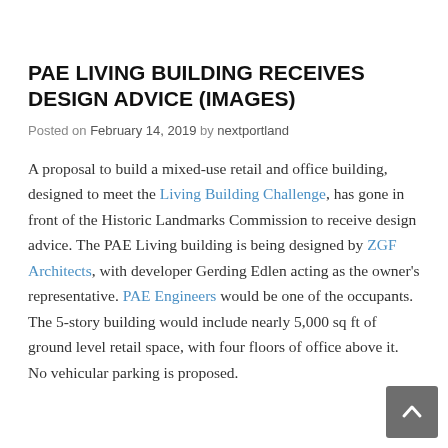PAE LIVING BUILDING RECEIVES DESIGN ADVICE (IMAGES)
Posted on February 14, 2019 by nextportland
A proposal to build a mixed-use retail and office building, designed to meet the Living Building Challenge, has gone in front of the Historic Landmarks Commission to receive design advice. The PAE Living building is being designed by ZGF Architects, with developer Gerding Edlen acting as the owner's representative. PAE Engineers would be one of the occupants. The 5-story building would include nearly 5,000 sq ft of ground level retail space, with four floors of office above it. No vehicular parking is proposed.